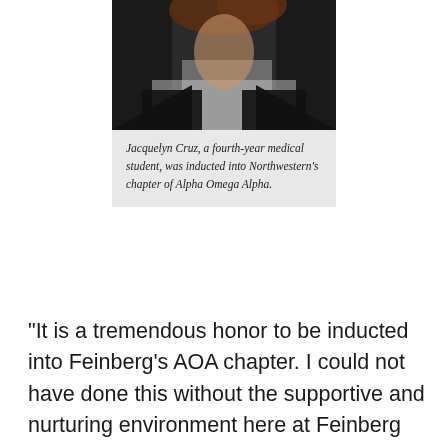[Figure (photo): Partial photo of a person wearing dark clothing, cropped showing upper body and face partially visible, dark background]
Jacquelyn Cruz, a fourth-year medical student, was inducted into Northwestern's chapter of Alpha Omega Alpha.
“It is a tremendous honor to be inducted into Feinberg’s AOA chapter. I could not have done this without the supportive and nurturing environment here at Feinberg and the help from the staff, mentors, residents, faculty and my wonderful peers. I am also excited to be amongst many great clinicians that I aspire to be like, and hope that one day I can fill their shoes,” said Hsiang-Chun (Jimmy) Chang, a fourth-